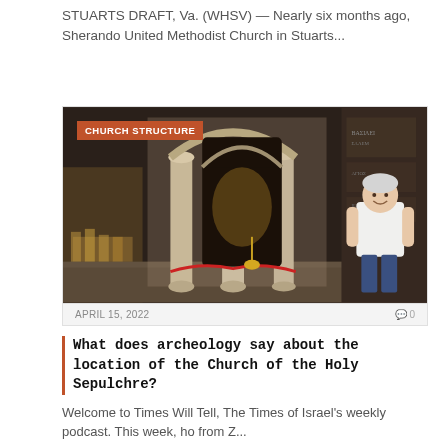STUARTS DRAFT, Va. (WHSV) — Nearly six months ago, Sherando United Methodist Church in Stuarts...
[Figure (photo): Interior of the Church of the Holy Sepulchre showing stone columns, archway, and a woman in a white t-shirt standing to the right. An orange badge overlay reads 'CHURCH STRUCTURE'.]
APRIL 15, 2022
0
What does archeology say about the location of the Church of the Holy Sepulchre?
Welcome to Times Will Tell, The Times of Israel's weekly podcast. This week, ho from Z...